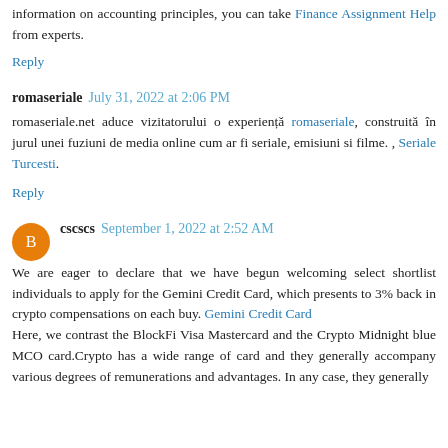information on accounting principles, you can take Finance Assignment Help from experts.
Reply
romaseriale  July 31, 2022 at 2:06 PM
romaseriale.net aduce vizitatorului o experiență romaseriale, construită în jurul unei fuziuni de media online cum ar fi seriale, emisiuni si filme. , Seriale Turcesti.
Reply
cscscs  September 1, 2022 at 2:52 AM
We are eager to declare that we have begun welcoming select shortlist individuals to apply for the Gemini Credit Card, which presents to 3% back in crypto compensations on each buy. Gemini Credit Card Here, we contrast the BlockFi Visa Mastercard and the Crypto Midnight blue MCO card.Crypto has a wide range of card and they generally accompany various degrees of remunerations and advantages. In any case, they generally